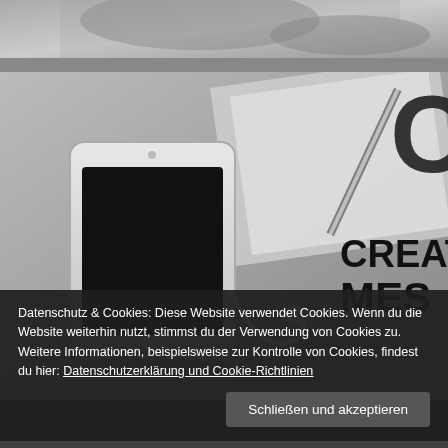[Figure (photo): Black and white partial photo at top of page, appears to show a person or scene, cropped]
[Figure (photo): Black and white photo of a smartphone, notebook, pen, earphones, and a partially visible book/magazine with bold text reading 'CREAT' and 'MES' on the right side, on a desk surface]
Datenschutz & Cookies: Diese Website verwendet Cookies. Wenn du die Website weiterhin nutzt, stimmst du der Verwendung von Cookies zu.
Weitere Informationen, beispielsweise zur Kontrolle von Cookies, findest du hier: Datenschutzerklärung und Cookie-Richtlinien
Schließen und akzeptieren